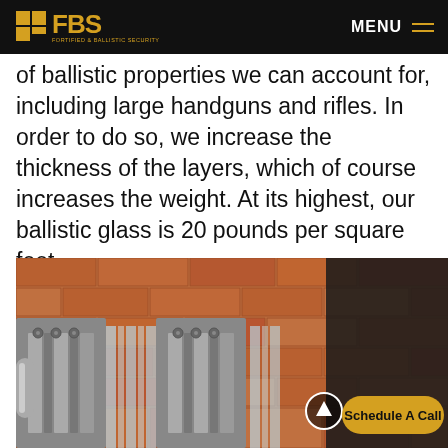FBS FORTIFIED & BALLISTIC SECURITY | MENU
of ballistic properties we can account for, including large handguns and rifles. In order to do so, we increase the thickness of the layers, which of course increases the weight. At its highest, our ballistic glass is 20 pounds per square foot.
[Figure (photo): Close-up photo of ballistic glass window frame cross-section showing multiple aluminum layers and glass panes, mounted against a brick wall background. A golden 'Schedule A Call' button and an up-arrow circle button are overlaid at the bottom right.]